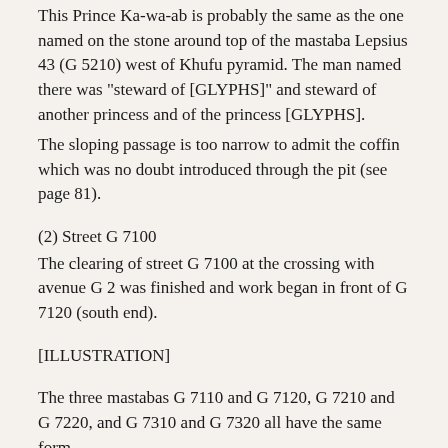This Prince Ka-wa-ab is probably the same as the one named on the stone around top of the mastaba Lepsius 43 (G 5210) west of Khufu pyramid. The man named there was "steward of [GLYPHS]" and steward of another princess and of the princess [GLYPHS].
The sloping passage is too narrow to admit the coffin which was no doubt introduced through the pit (see page 81).
(2) Street G 7100
The clearing of street G 7100 at the crossing with avenue G 2 was finished and work began in front of G 7120 (south end).
[ILLUSTRATION]
The three mastabas G 7110 and G 7120, G 7210 and G 7220, and G 7310 and G 7320 all have the same form.
[ILLUSTRATION]